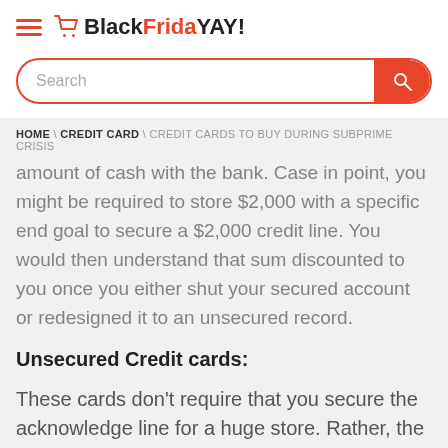BlackFridaYAY!
amount of cash with the bank. Case in point, you might be required to store $2,000 with a specific end goal to secure a $2,000 credit line. You would then understand that sum discounted to you once you either shut your secured account or redesigned it to an unsecured record.
Unsecured Credit cards:
These cards don't require that you secure the acknowledge line for a huge store. Rather, the backer